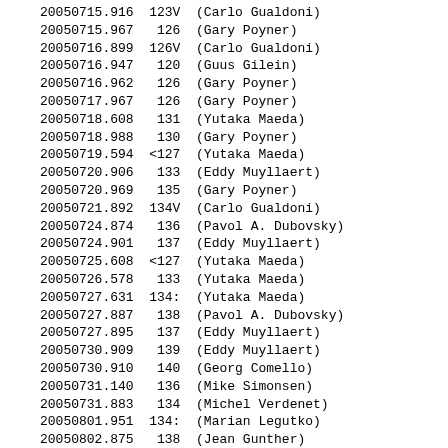| JD | Mag | Observer |
| --- | --- | --- |
| 20050715.916 | 123V | (Carlo Gualdoni) |
| 20050715.967 | 126 | (Gary Poyner) |
| 20050716.899 | 126V | (Carlo Gualdoni) |
| 20050716.947 | 120 | (Guus Gilein) |
| 20050716.962 | 126 | (Gary Poyner) |
| 20050717.967 | 126 | (Gary Poyner) |
| 20050718.608 | 131 | (Yutaka Maeda) |
| 20050718.988 | 130 | (Gary Poyner) |
| 20050719.594 | <127 | (Yutaka Maeda) |
| 20050720.906 | 133 | (Eddy Muyllaert) |
| 20050720.969 | 135 | (Gary Poyner) |
| 20050721.892 | 134V | (Carlo Gualdoni) |
| 20050724.874 | 136 | (Pavol A. Dubovsky) |
| 20050724.901 | 137 | (Eddy Muyllaert) |
| 20050725.608 | <127 | (Yutaka Maeda) |
| 20050726.578 | 133 | (Yutaka Maeda) |
| 20050727.631 | 134: | (Yutaka Maeda) |
| 20050727.887 | 138 | (Pavol A. Dubovsky) |
| 20050727.895 | 137 | (Eddy Muyllaert) |
| 20050730.909 | 139 | (Eddy Muyllaert) |
| 20050730.910 | 140 | (Georg Comello) |
| 20050731.140 | 136 | (Mike Simonsen) |
| 20050731.883 | 134 | (Michel Verdenet) |
| 20050801.951 | 134: | (Marian Legutko) |
| 20050802.875 | 138 | (Jean Gunther) |
| 20050802.889 | 134 | (Eddy Muyllaert) |
| 20050802.890 | 130 | (Jose Ripero) |
| 20050802.891 | 131 | (Georg Comello) |
| 20050803.847 | 12.90V | (Carlo Gualdoni) |
| 20050803.885 | 130 | (Jean Gunther) |